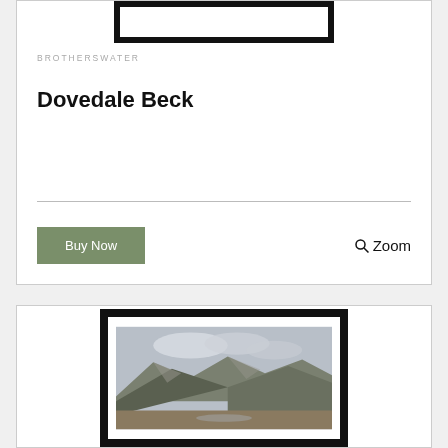[Figure (photo): Framed artwork product image (top portion visible, black frame)]
BROTHERSWATER
Dovedale Beck
Buy Now
Zoom
[Figure (photo): Framed landscape artwork showing mountains and valley, black frame with white mat]